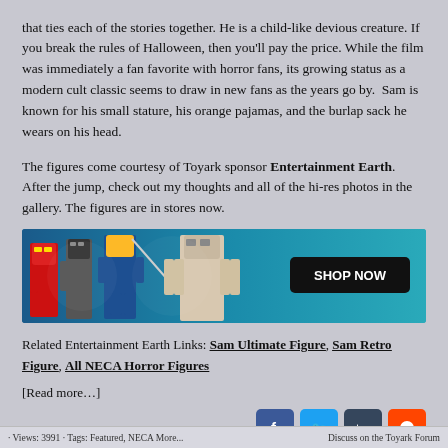that ties each of the stories together. He is a child-like devious creature. If you break the rules of Halloween, then you'll pay the price. While the film was immediately a fan favorite with horror fans, its growing status as a modern cult classic seems to draw in new fans as the years go by. Sam is known for his small stature, his orange pajamas, and the burlap sack he wears on his head.
The figures come courtesy of Toyark sponsor Entertainment Earth. After the jump, check out my thoughts and all of the hi-res photos in the gallery. The figures are in stores now.
[Figure (photo): Entertainment Earth advertisement banner showing action figures including Iron Man, Jason Voorhees, a basketball player, and General Grievous, with a 'SHOP NOW' button on dark background.]
Related Entertainment Earth Links: Sam Ultimate Figure, Sam Retro Figure, All NECA Horror Figures
[Read more…]
Views: 3991 · Tags: Featured, NECA More... · Discuss on the Toyark Forum